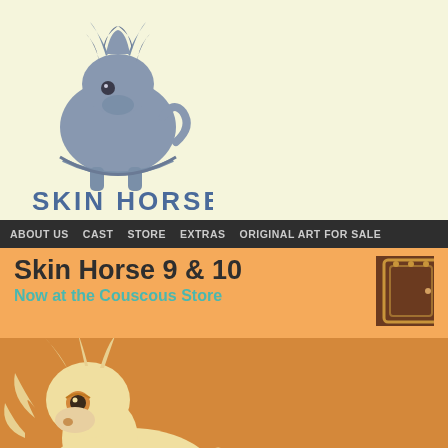[Figure (logo): Skin Horse logo: stylized blue-grey horse silhouette above text 'SKIN HORSE' in blue capital letters]
ABOUT US   CAST   STORE   EXTRAS   ORIGINAL ART FOR SALE
Skin Horse 9 & 10
Now at the Couscous Store
[Figure (illustration): Orange/amber background with a cream-colored cartoon horse character illustration and decorative dots]
1. Crazy=Genius
Pa